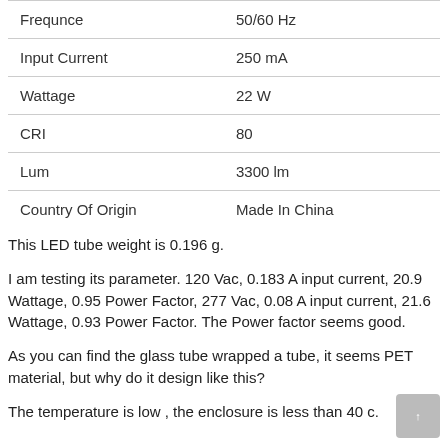| Property | Value |
| --- | --- |
| Frequnce | 50/60 Hz |
| Input Current | 250 mA |
| Wattage | 22 W |
| CRI | 80 |
| Lum | 3300 lm |
| Country Of Origin | Made In China |
This LED tube weight is 0.196 g.
I am testing its parameter. 120 Vac, 0.183 A input current, 20.9 Wattage, 0.95 Power Factor, 277 Vac, 0.08 A input current, 21.6 Wattage, 0.93 Power Factor. The Power factor seems good.
As you can find the glass tube wrapped a tube, it seems PET material, but why do it design like this?
The temperature is low , the enclosure is less than 40 c.